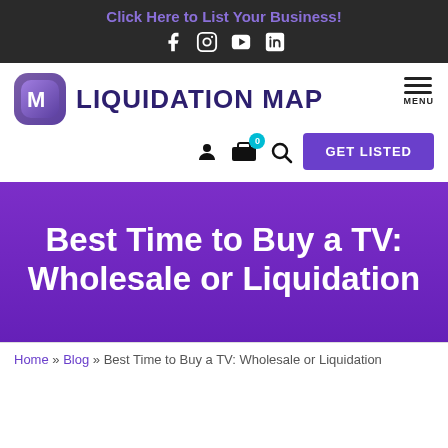Click Here to List Your Business!
[Figure (logo): Liquidation Map logo with purple M icon and bold text LIQUIDATION MAP]
Best Time to Buy a TV: Wholesale or Liquidation
Home » Blog » Best Time to Buy a TV: Wholesale or Liquidation